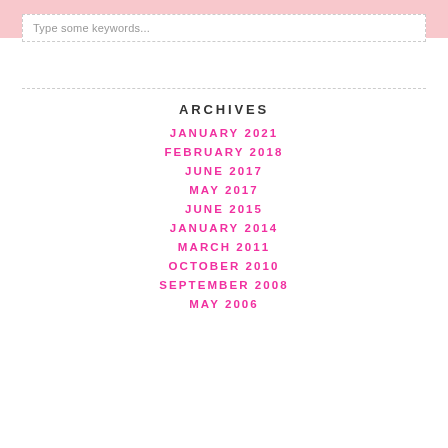Type some keywords...
ARCHIVES
JANUARY 2021
FEBRUARY 2018
JUNE 2017
MAY 2017
JUNE 2015
JANUARY 2014
MARCH 2011
OCTOBER 2010
SEPTEMBER 2008
MAY 2006